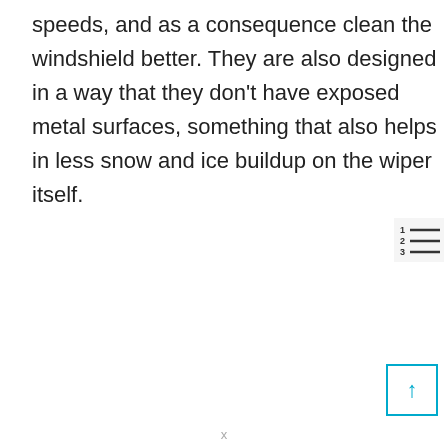speeds, and as a consequence clean the windshield better. They are also designed in a way that they don't have exposed metal surfaces, something that also helps in less snow and ice buildup on the wiper itself.
[Figure (other): A numbered list icon (1 2 3 with horizontal lines) shown as a small UI element in the top-right area]
[Figure (other): An up-arrow button inside a square border with a cyan/blue arrow pointing upward, positioned bottom-right]
x